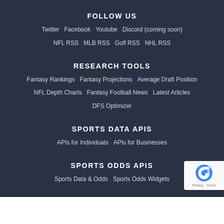FOLLOW US
Twitter   Facebook   Youtube   Discord (coming soon)
NFL RSS   MLB RSS   Golf RSS   NHL RSS
RESEARCH TOOLS
Fantasy Rankings   Fantasy Projections   Average Draft Position
NFL Depth Charts   Fantasy Football News   Latest Articles
DFS Optimizer
SPORTS DATA APIS
APIs for Individuals   APIs for Businesses
SPORTS ODDS APIS
Sports Data & Odds   Sports Odds Widgets